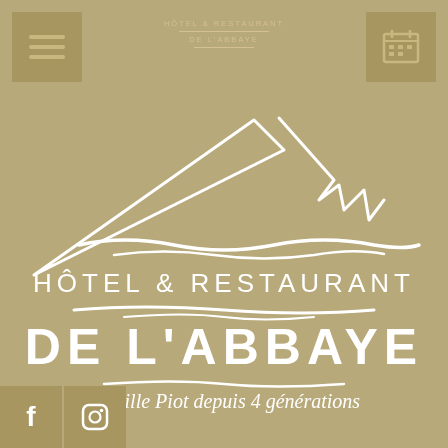[Figure (logo): Hotel & Restaurant De L'Abbaye logo with abstract bird/abbey illustration in white on tan/gold background, with navigation icons (menu, calendar, social media)]
HÔTEL & RESTAURANT
DE L'ABBAYE
Famille Piot depuis 4 générations